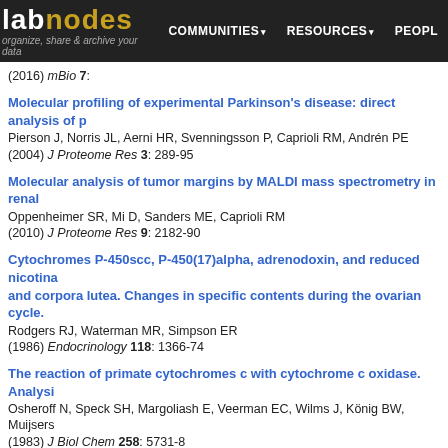labnodes | organize, share & archive your data | COMMUNITIES | RESOURCES | PEOPLE
(2016) mBio 7:
Molecular profiling of experimental Parkinson's disease: direct analysis of p
Pierson J, Norris JL, Aerni HR, Svenningsson P, Caprioli RM, Andrén PE
(2004) J Proteome Res 3: 289-95
Molecular analysis of tumor margins by MALDI mass spectrometry in renal
Oppenheimer SR, Mi D, Sanders ME, Caprioli RM
(2010) J Proteome Res 9: 2182-90
Cytochromes P-450scc, P-450(17)alpha, adrenodoxin, and reduced nicotina
and corpora lutea. Changes in specific contents during the ovarian cycle.
Rodgers RJ, Waterman MR, Simpson ER
(1986) Endocrinology 118: 1366-74
The reaction of primate cytochromes c with cytochrome c oxidase. Analysi
Osheroff N, Speck SH, Margoliash E, Veerman EC, Wilms J, König BW, Muijsers
(1983) J Biol Chem 258: 5731-8
Definition of enzymic interaction domains on cytochrome c. Purification an
cytochromes c.
Osheroff N, Brautigan DL, Margoliash E
(1980) J Biol Chem 255: 8245-51
Introduction to Metals in Biology 2018: Copper homeostasis and utilization
Guengerich FP